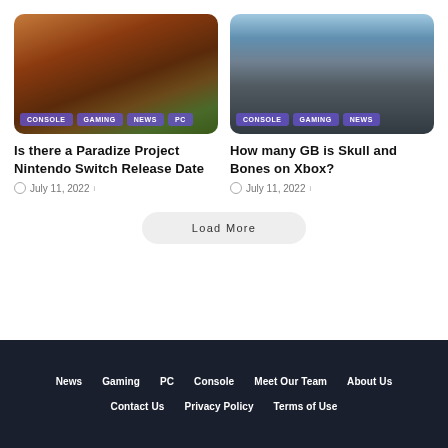[Figure (photo): Gaming screenshot showing characters on rocky terrain with red-toned landscape, tags: CONSOLE, GAMING, NEWS, PC]
Is there a Paradize Project Nintendo Switch Release Date
July 11, 2022
[Figure (photo): Gaming screenshot showing a sailing ship with rigging against a blue sky, tags: CONSOLE, GAMING, NEWS]
How many GB is Skull and Bones on Xbox?
July 11, 2022
Load More
News  Gaming  PC  Console  Meet Our Team  About Us  Contact Us  Privacy Policy  Terms of Use